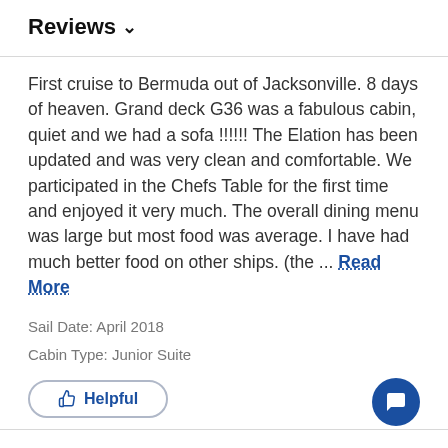Reviews ∨
First cruise to Bermuda out of Jacksonville. 8 days of heaven. Grand deck G36 was a fabulous cabin, quiet and we had a sofa !!!!!! The Elation has been updated and was very clean and comfortable. We participated in the Chefs Table for the first time and enjoyed it very much. The overall dining menu was large but most food was average. I have had much better food on other ships. (the ... Read More
Sail Date: April 2018
Cabin Type: Junior Suite